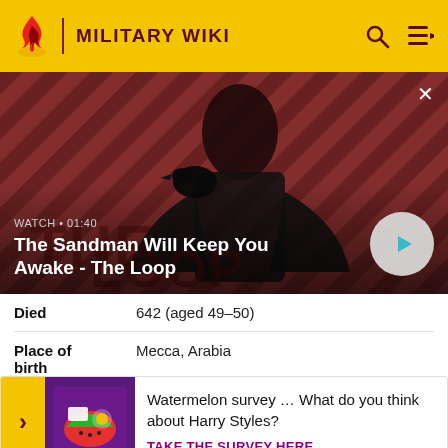MILITARY WIKI
[Figure (screenshot): Video thumbnail showing a dark-cloaked figure with a raven on shoulder against red diagonal stripe background. Video title overlay: WATCH • 01:40 / The Sandman Will Keep You Awake - The Loop]
| Died | 642 (aged 49–50) |
| Place of birth | Mecca, Arabia |
Watermelon survey … What do you think about Harry Styles?
TAKE THE SURVEY HERE